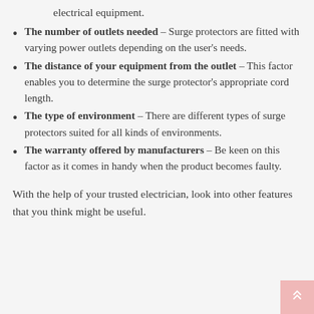electrical equipment.
The number of outlets needed – Surge protectors are fitted with varying power outlets depending on the user's needs.
The distance of your equipment from the outlet – This factor enables you to determine the surge protector's appropriate cord length.
The type of environment – There are different types of surge protectors suited for all kinds of environments.
The warranty offered by manufacturers – Be keen on this factor as it comes in handy when the product becomes faulty.
With the help of your trusted electrician, look into other features that you think might be useful.